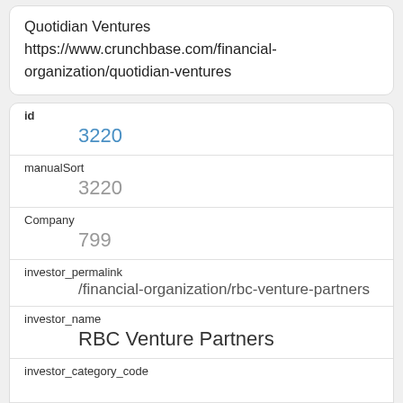Quotidian Ventures
https://www.crunchbase.com/financial-organization/quotidian-ventures
| id | 3220 |
| manualSort | 3220 |
| Company | 799 |
| investor_permalink | /financial-organization/rbc-venture-partners |
| investor_name | RBC Venture Partners |
| investor_category_code |  |
| investor_country_code | CAN |
| investor_state_code |  |